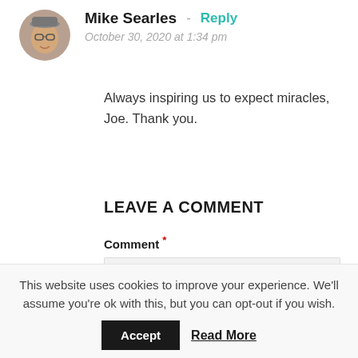[Figure (photo): Circular avatar photo of Mike Searles, a man wearing a cap and glasses, smiling]
Mike Searles - Reply
October 30, 2020 at 1:34 pm
Always inspiring us to expect miracles, Joe. Thank you.
LEAVE A COMMENT
Comment *
This website uses cookies to improve your experience. We'll assume you're ok with this, but you can opt-out if you wish.
Accept  Read More